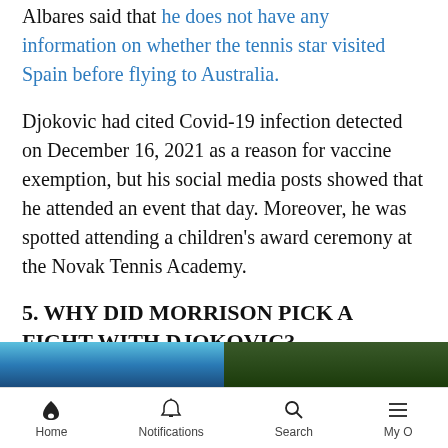Albares said that he does not have any information on whether the tennis star visited Spain before flying to Australia.
Djokovic had cited Covid-19 infection detected on December 16, 2021 as a reason for vaccine exemption, but his social media posts showed that he attended an event that day. Moreover, he was spotted attending a children's award ceremony at the Novak Tennis Academy.
5. WHY DID MORRISON PICK A FIGHT WITH DJOKOVIC?
[Figure (photo): Two side-by-side photos partially visible at bottom of page]
Home   Notifications   Search   My O